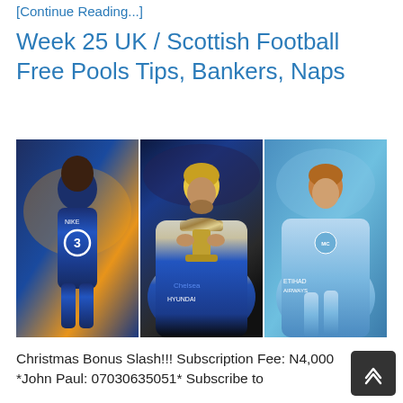[Continue Reading...]
Week 25 UK / Scottish Football Free Pools Tips, Bankers, Naps
[Figure (photo): Composite of three football players: left - Chelsea player in dark blue kit with number 3 sponsor, center - Chelsea player kissing a trophy with blonde hair, right - Manchester City player in light blue kit]
Christmas Bonus Slash!!! Subscription Fee: N4,000 *John Paul: 07030635051* Subscribe to